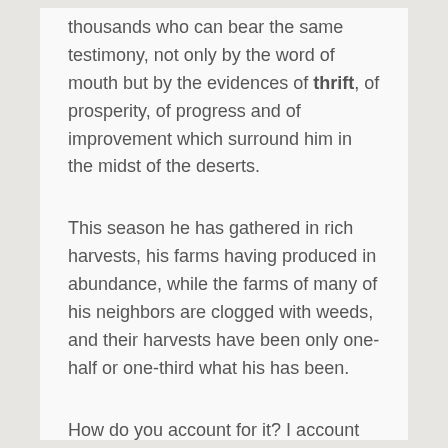thousands who can bear the same testimony, not only by the word of mouth but by the evidences of thrift, of prosperity, of progress and of improvement which surround him in the midst of the deserts.
This season he has gathered in rich harvests, his farms having produced in abundance, while the farms of many of his neighbors are clogged with weeds, and their harvests have been only one-half or one-third what his has been.
How do you account for it? I account for it in the fact that God has blessed him; and so does he, for he is an intelligent man, a man that